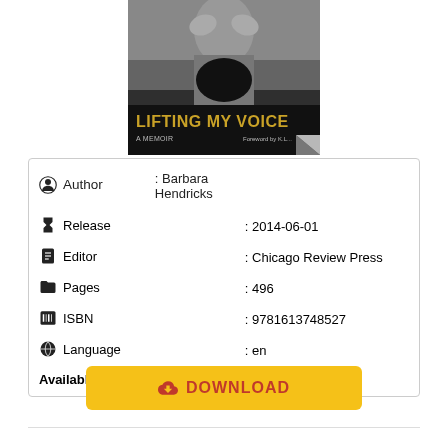[Figure (illustration): Book cover of 'Lifting My Voice: A Memoir' showing a black and white photo of a person with the title in gold/yellow text]
| Author | Barbara Hendricks |
| Release | 2014-06-01 |
| Editor | Chicago Review Press |
| Pages | 496 |
| ISBN | 9781613748527 |
| Language | en |
| Available for | (platform icons: Apple, Windows, Linux, Android) |
DOWNLOAD